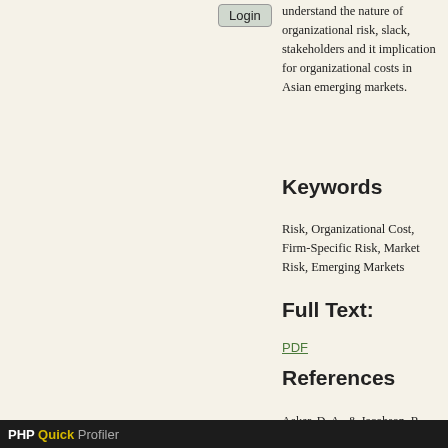[Figure (screenshot): Login button UI element]
understand the nature of organizational risk, slack, stakeholders and it implication for organizational costs in Asian emerging markets.
Keywords
Risk, Organizational Cost, Firm-Specific Risk, Market Risk, Emerging Markets
Full Text:
PDF
References
Aaker, D. A., & Jacobson, R. (1987). The role of risk in explaining differences in profitability. Academy of Management Journal, 30(2), 277-296.
Amaya, D., Gauthier, G., & Léautier, T. O. (2015). Dynamic risk management: investment, capital structure, and hedging in the presence of financial frictions. Journal of Risk and Insurance, 82(2), 359-399.
Amit, R., & Wernerfelt, B. (1990). Why do firms reduce business risk? Academy of
PHP Quick Profiler